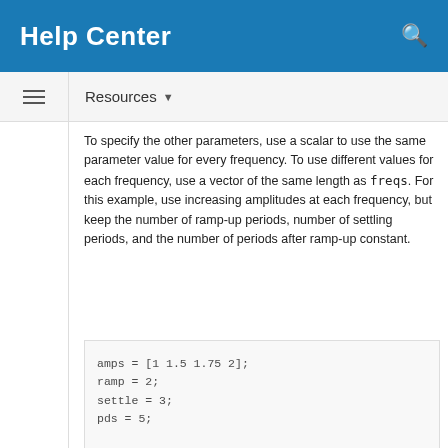Help Center
Resources ▾
To specify the other parameters, use a scalar to use the same parameter value for every frequency. To use different values for each frequency, use a vector of the same length as freqs. For this example, use increasing amplitudes at each frequency, but keep the number of ramp-up periods, number of settling periods, and the number of periods after ramp-up constant.